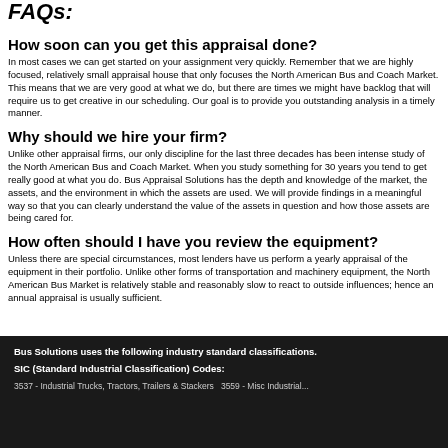FAQs:
How soon can you get this appraisal done?
In most cases we can get started on your assignment very quickly. Remember that we are highly focused, relatively small appraisal house that only focuses the North American Bus and Coach Market. This means that we are very good at what we do, but there are times we might have backlog that will require us to get creative in our scheduling. Our goal is to provide you outstanding analysis in a timely manner.
Why should we hire your firm?
Unlike other appraisal firms, our only discipline for the last three decades has been intense study of the North American Bus and Coach Market. When you study something for 30 years you tend to get really good at what you do. Bus Appraisal Solutions has the depth and knowledge of the market, the assets, and the environment in which the assets are used. We will provide findings in a meaningful way so that you can clearly understand the value of the assets in question and how those assets are being cared for.
How often should I have you review the equipment?
Unless there are special circumstances, most lenders have us perform a yearly appraisal of the equipment in their portfolio. Unlike other forms of transportation and machinery equipment, the North American Bus Market is relatively stable and reasonably slow to react to outside influences; hence an annual appraisal is usually sufficient.
Bus Solutions uses the following industry standard classifications.
SIC (Standard Industrial Classification) Codes:
3537 - Industrial Trucks, Tractors, Trailers & Stackers  3559 - Misc Industrial...